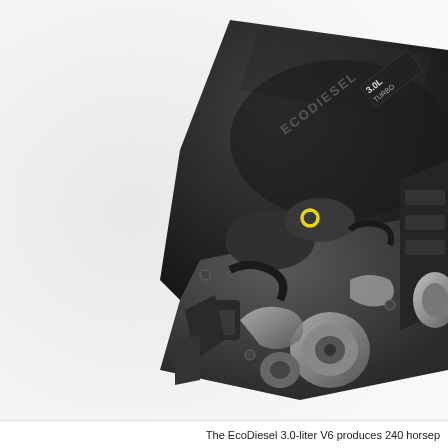[Figure (photo): A 3.0L EcoDiesel Turbo V6 engine shown at an angle on a white background. The dark engine cover is prominently labeled '3.0L TURBO' and 'ECODIESEL'. A yellow oil dipstick ring is visible. Engine block, alternator, and accessory components are visible below the cover.]
The EcoDiesel 3.0-liter V6 produces 240 horsep